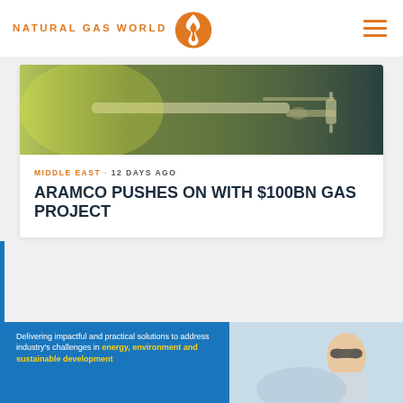NATURAL GAS WORLD
[Figure (photo): Close-up photo of industrial equipment/tool on dark background with yellow-green lighting]
MIDDLE EAST · 12 DAYS AGO
ARAMCO PUSHES ON WITH $100BN GAS PROJECT
[Figure (photo): Advertisement banner: blue panel with text about delivering impactful and practical solutions for industry challenges in energy, environment and sustainable development; right side shows person with glasses and equipment]